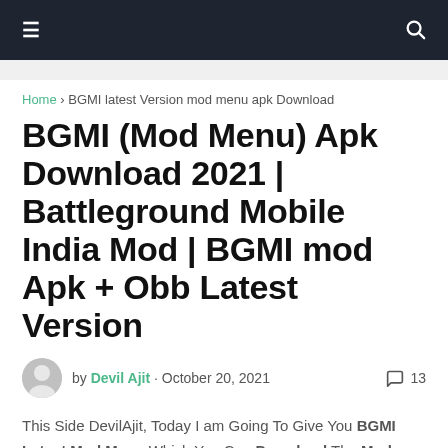≡  [search icon]
Home › BGMI latest Version mod menu apk Download
BGMI (Mod Menu) Apk Download 2021 | Battleground Mobile India Mod | BGMI mod Apk + Obb Latest Version
by Devil Ajit · October 20, 2021  💬 13
This Side DevilAjit, Today I am Going To Give You BGMI Latest Mod Menu Which You Can Download The Mod Menu Latest Version 2021. Before Going To Download BGMI Mod Apk You Have To Follow Some Steps To Initiate The Download